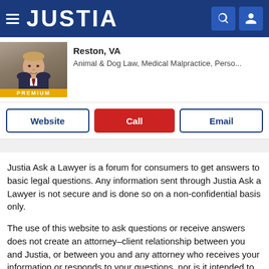JUSTIA
Reston, VA
Animal & Dog Law, Medical Malpractice, Perso...
Website | Call | Email
Justia Ask a Lawyer is a forum for consumers to get answers to basic legal questions. Any information sent through Justia Ask a Lawyer is not secure and is done so on a non-confidential basis only.
The use of this website to ask questions or receive answers does not create an attorney-client relationship between you and Justia, or between you and any attorney who receives your information or responds to your questions, nor is it intended to create such a relationship. Additionally, no responses on this forum constitute legal advice, which must be tailored to the specific circumstances of each case. You should not act upon